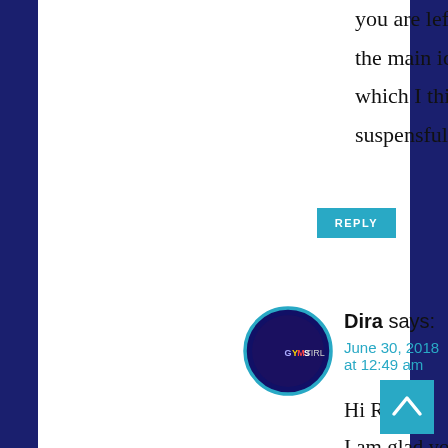you are left wondering about the main idea of the movie which I think this is good and suspensful.
REPLY
[Figure (illustration): Circular avatar with blue border, dark background with colored text logo]
Dira says:
June 30, 2018 at 12:49 am
Hi Rob,
I am glad you enjoyed it and thanks a lot for
[Figure (illustration): Teal scroll-to-top button with upward arrow]